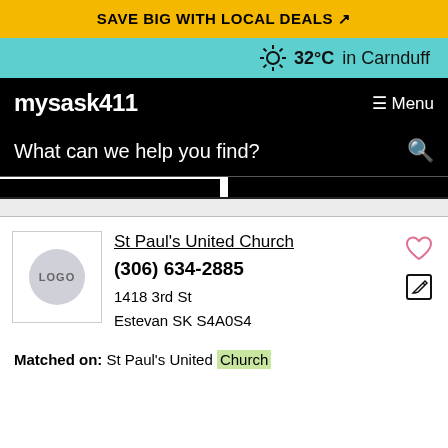SAVE BIG WITH LOCAL DEALS
32°C in Carnduff
mysask411
Menu
What can we help you find?
St Paul's United Church
(306) 634-2885
1418 3rd St
Estevan SK S4A0S4
Matched on: St Paul's United Church